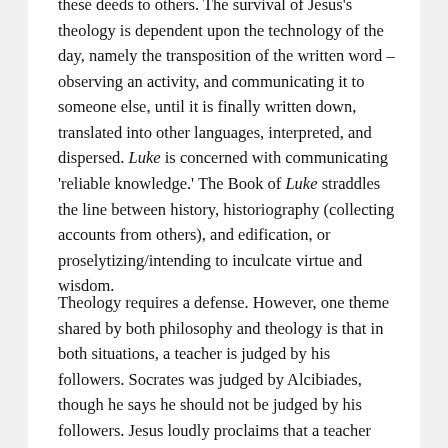these deeds to others. The survival of Jesus's theology is dependent upon the technology of the day, namely the transposition of the written word – observing an activity, and communicating it to someone else, until it is finally written down, translated into other languages, interpreted, and dispersed. Luke is concerned with communicating 'reliable knowledge.' The Book of Luke straddles the line between history, historiography (collecting accounts from others), and edification, or proselytizing/intending to inculcate virtue and wisdom.
Theology requires a defense. However, one theme shared by both philosophy and theology is that in both situations, a teacher is judged by his followers. Socrates was judged by Alcibiades, though he says he should not be judged by his followers. Jesus loudly proclaims that a teacher should be judged by his followers (Luke 7:35) and he will thus be vindicated by his fruits. Theology requires the